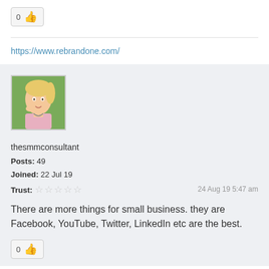[Figure (other): Like button with count 0 and thumbs-up emoji]
https://www.rebrandone.com/
thesmmconsultant
Posts: 49
Joined: 22 Jul 19
Trust: ☆☆☆☆☆
24 Aug 19 5:47 am
There are more things for small business. they are Facebook, YouTube, Twitter, LinkedIn etc are the best.
[Figure (other): Like button with count 0 and thumbs-up emoji]